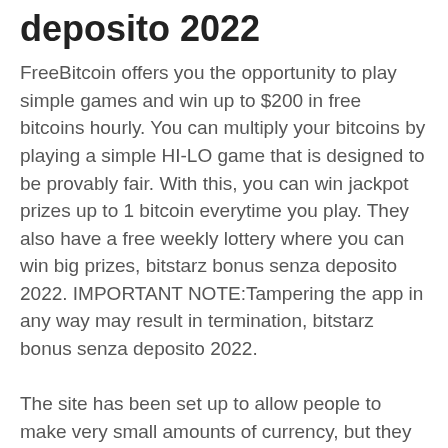deposito 2022
FreeBitcoin offers you the opportunity to play simple games and win up to $200 in free bitcoins hourly. You can multiply your bitcoins by playing a simple HI-LO game that is designed to be provably fair. With this, you can win jackpot prizes up to 1 bitcoin everytime you play. They also have a free weekly lottery where you can win big prizes, bitstarz bonus senza deposito 2022. IMPORTANT NOTE:Tampering the app in any way may result in termination, bitstarz bonus senza deposito 2022.
The site has been set up to allow people to make very small amounts of currency, but they do pay out what you have earned. Having checked out some forum reviews regarding FaucetCrypto, there is not much sympathy for those that are complaining about lack of payment or miniscule earnings. As you can also see, I'm not the only one